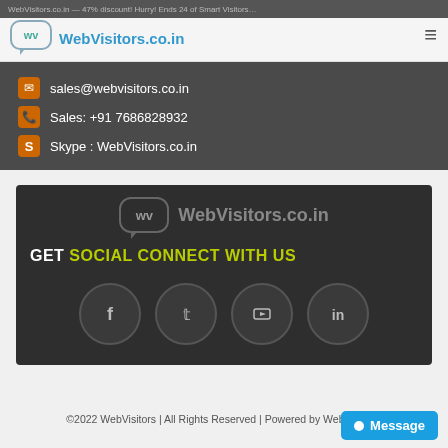WebVisitors.co.in
sales@webvisitors.co.in
Sales: +91 7686828932
Skype : WebVisitors.co.in
[Figure (logo): WebVisitors.co.in logo with social media icons (Facebook, Twitter, YouTube, LinkedIn) and GET SOCIAL CONNECT WITH US text]
©2022 WebVisitors | All Rights Reserved | Powered by Web Visitors